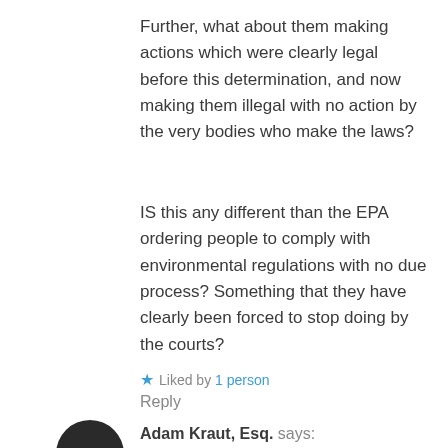Further, what about them making actions which were clearly legal before this determination, and now making them illegal with no action by the very bodies who make the laws?
IS this any different than the EPA ordering people to comply with environmental regulations with no due process? Something that they have clearly been forced to stop doing by the courts?
★ Liked by 1 person
Reply
Adam Kraut, Esq. says: